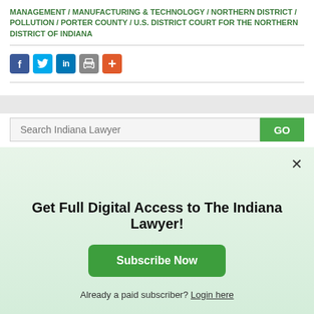MANAGEMENT / MANUFACTURING & TECHNOLOGY / NORTHERN DISTRICT / POLLUTION / PORTER COUNTY / U.S. DISTRICT COURT FOR THE NORTHERN DISTRICT OF INDIANA
[Figure (other): Social sharing icons: Facebook, Twitter, LinkedIn, Print, More (+)]
Search Indiana Lawyer
Get Full Digital Access to The Indiana Lawyer!
Subscribe Now
Already a paid subscriber? Login here